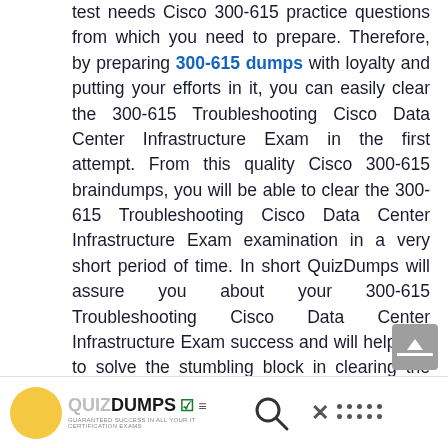test needs Cisco 300-615 practice questions from which you need to prepare. Therefore, by preparing 300-615 dumps with loyalty and putting your efforts in it, you can easily clear the 300-615 Troubleshooting Cisco Data Center Infrastructure Exam in the first attempt. From this quality Cisco 300-615 braindumps, you will be able to clear the 300-615 Troubleshooting Cisco Data Center Infrastructure Exam examination in a very short period of time. In short QuizDumps will assure you about your 300-615 Troubleshooting Cisco Data Center Infrastructure Exam success and will help you to solve the stumbling block in clearing the CCNP Data Center 300-615 certification exam.
[Figure (logo): QuizDumps logo with yellow circle and checkmark, search icon, close icon, and dot grid pattern in footer bar]